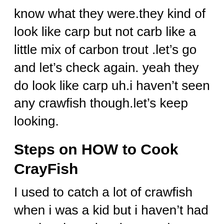know what they were.they kind of look like carp but not carb like a little mix of carbon trout .let's go and let's check again. yeah they do look like carp uh.i haven't seen any crawfish though.let's keep looking.
Steps on HOW to Cook CrayFish
I used to catch a lot of crawfish when i was a kid but i haven't had any in a long time.i was going to grab them but i missed out. but i'm gonna put a trap down there because there's a lot and there's some big ones too .so let's get the trap set up, so i have this crawfish trap right here. it's got holes on both ends a